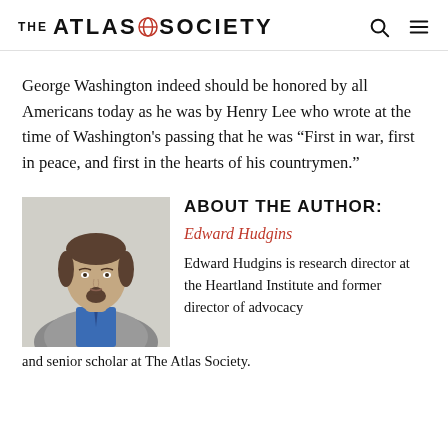THE ATLAS SOCIETY
George Washington indeed should be honored by all Americans today as he was by Henry Lee who wrote at the time of Washington's passing that he was “First in war, first in peace, and first in the hearts of his countrymen.”
[Figure (photo): Headshot photo of Edward Hudgins, a man with brown hair and a goatee wearing a blue shirt and grey jacket]
ABOUT THE AUTHOR:
Edward Hudgins
Edward Hudgins is research director at the Heartland Institute and former director of advocacy and senior scholar at The Atlas Society.